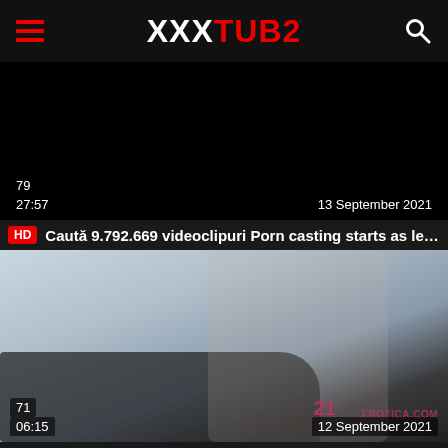XXXTUB2
[Figure (screenshot): Black video thumbnail with overlay badges showing view count 79, duration 27:57, date 13 September 2021]
HD Caută 9.792.669 videoclipuri Porn casting starts as lesb...
[Figure (photo): Video thumbnail showing explicit adult content with badges: view count 71, duration 06:15, watermark 21erotica.com, date 12 September 2021]
HD Passionate teen with small tits has intense ass fucking